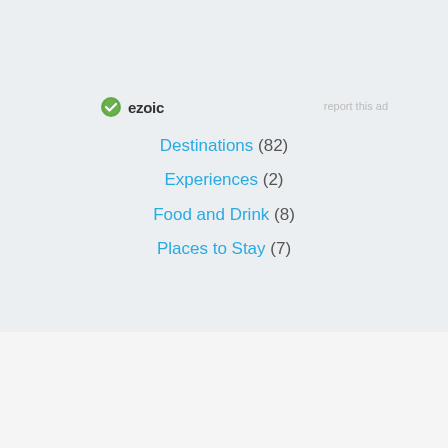[Figure (logo): Ezoic logo with green circular checkmark icon and bold 'ezoic' text]
report this ad
Destinations (82)
Experiences (2)
Food and Drink (8)
Places to Stay (7)